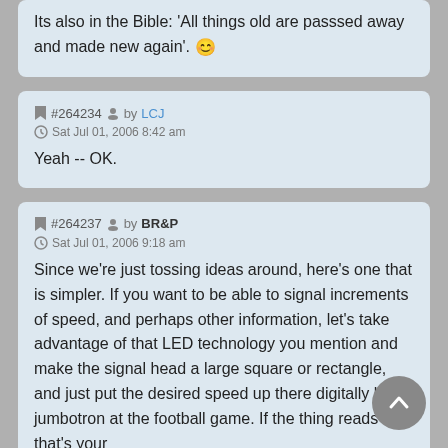Its also in the Bible: 'All things old are passsed away and made new again'. 😊
#264234 by LCJ
Sat Jul 01, 2006 8:42 am

Yeah -- OK.
#264237 by BR&P
Sat Jul 01, 2006 9:18 am

Since we're just tossing ideas around, here's one that is simpler. If you want to be able to signal increments of speed, and perhaps other information, let's take advantage of that LED technology you mention and make the signal head a large square or rectangle, and just put the desired speed up there digitally like a jumbotron at the football game. If the thing reads "30" that's your